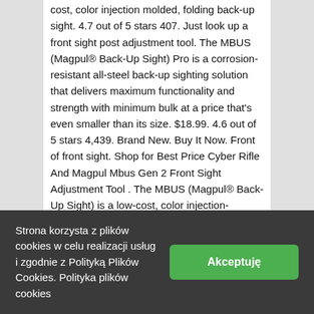cost, color injection molded, folding back-up sight. 4.7 out of 5 stars 407. Just look up a front sight post adjustment tool. The MBUS (Magpul® Back-Up Sight) Pro is a corrosion-resistant all-steel back-up sighting solution that delivers maximum functionality and strength with minimum bulk at a price that's even smaller than its size. $18.99. 4.6 out of 5 stars 4,439. Brand New. Buy It Now. Front of front sight. Shop for Best Price Cyber Rifle And Magpul Mbus Gen 2 Front Sight Adjustment Tool . The MBUS (Magpul® Back-Up Sight) is a low-cost, color injection-molded, folding back-up sight. Magpul MBUS GEN 2 Rear Sight IN STOCK Our Price: $57.95 . Brand New. Hi guys, after using these Iron sights extensively, I would like to give my input to help others. Made in the USA. 5.0 out of 5 stars. The MBUS (Magpul® Back-Up Sight) is a low-cost, color injection molded, folding back-up sight. 4.8 out of 5 stars 1,485. I just bought this a week
Strona korzysta z plików cookies w celu realizacji usług i zgodnie z Polityką Plików Cookies. Polityka plików cookies